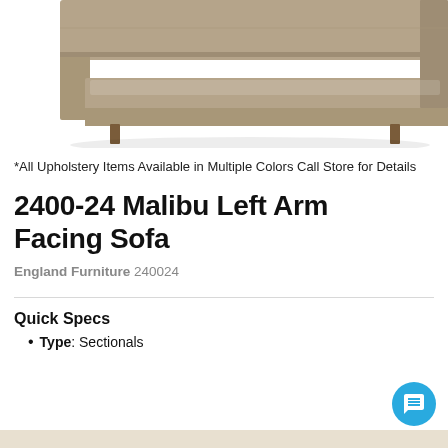[Figure (photo): Partial view of a tan/beige sectional sofa (Malibu Left Arm Facing Sofa) against a white background, showing the corner and legs of the sofa.]
*All Upholstery Items Available in Multiple Colors Call Store for Details
2400-24 Malibu Left Arm Facing Sofa
England Furniture 240024
Quick Specs
Type: Sectionals